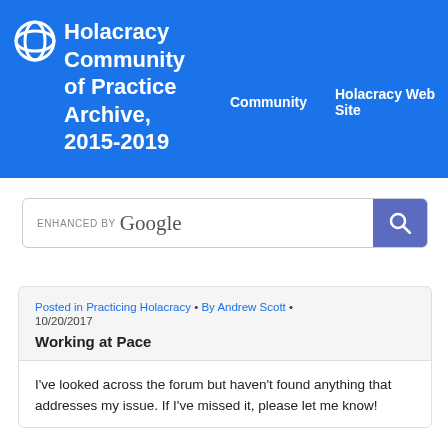Holacracy Community of Practice Archive, 2015-2019 | Community | Holacracy Web Site
[Figure (screenshot): Google enhanced search bar with search button]
Posted in Practicing Holacracy • By Andrew Scott • 10/20/2017
Working at Pace
I've looked across the forum but haven't found anything that addresses my issue. If I've missed it, please let me know!